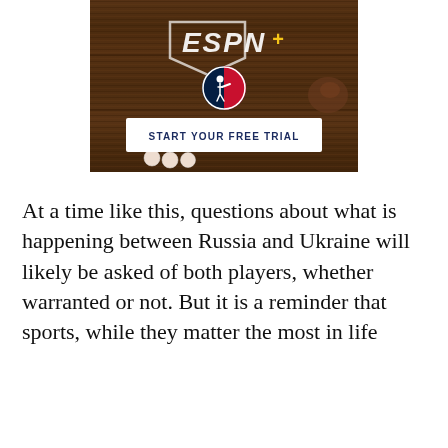[Figure (screenshot): ESPN+ and MLB advertisement on a wooden background with baseball equipment. Features ESPN+ logo, MLB logo badge, and a white CTA button reading 'START YOUR FREE TRIAL'.]
At a time like this, questions about what is happening between Russia and Ukraine will likely be asked of both players, whether warranted or not. But it is a reminder that sports, while they matter the most in life